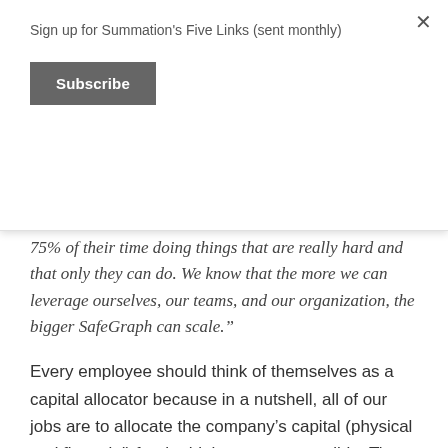Sign up for Summation's Five Links (sent monthly)
Subscribe
75% of their time doing things that are really hard and that only they can do. We know that the more we can leverage ourselves, our teams, and our organization, the bigger SafeGraph can scale.”
Every employee should think of themselves as a capital allocator because in a nutshell, all of our jobs are to allocate the company’s capital (physical and financial) for the highest return possible. Time is the one thing you cannot buy